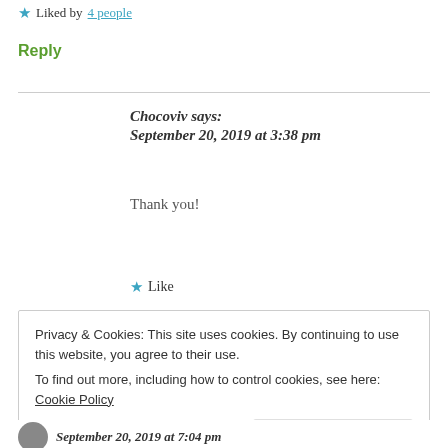★ Liked by 4 people
Reply
Chocoviv says: September 20, 2019 at 3:38 pm
Thank you!
★ Like
Privacy & Cookies: This site uses cookies. By continuing to use this website, you agree to their use. To find out more, including how to control cookies, see here: Cookie Policy
Close and accept
September 20, 2019 at 7:04 pm